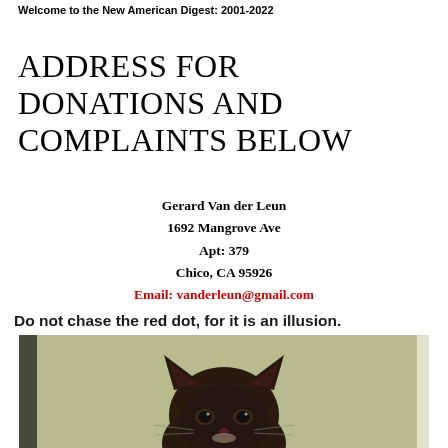Welcome to the New American Digest: 2001-2022
ADDRESS FOR DONATIONS AND COMPLAINTS BELOW
Gerard Van der Leun
1692 Mangrove Ave
Apt: 379
Chico, CA 95926
Email: vanderleun@gmail.com
Do not chase the red dot, for it is an illusion.
[Figure (photo): Close-up photo of a dark brown/black cat with pointed ears peering up from the bottom of the frame against a yellowish-green background]